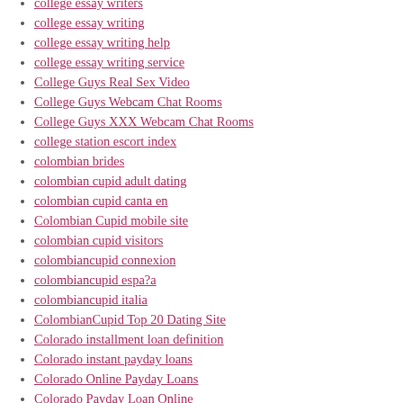college essay writers
college essay writing
college essay writing help
college essay writing service
College Guys Real Sex Video
College Guys Webcam Chat Rooms
College Guys XXX Webcam Chat Rooms
college station escort index
colombian brides
colombian cupid adult dating
colombian cupid canta en
Colombian Cupid mobile site
colombian cupid visitors
colombiancupid connexion
colombiancupid espa?a
colombiancupid italia
ColombianCupid Top 20 Dating Site
Colorado installment loan definition
Colorado instant payday loans
Colorado Online Payday Loans
Colorado Payday Loan Online
Colorado payday loans online no credit check instant approval
colorado what is a sugar daddy
colortyme payday loans